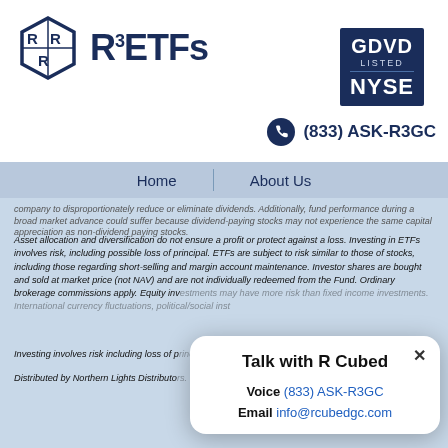[Figure (logo): R3 ETFs logo with hexagonal icon and bold text]
[Figure (logo): GDVD LISTED NYSE badge in dark blue box]
(833) ASK-R3GC
Home | About Us
company to disproportionately reduce or eliminate dividends. Additionally, fund performance during a broad market advance could suffer because dividend-paying stocks may not experience the same capital appreciation as non-dividend paying stocks.
Asset allocation and diversification do not ensure a profit or protect against a loss. Investing in ETFs involves risk, including possible loss of principal. ETFs are subject to risk similar to those of stocks, including those regarding short-selling and margin account maintenance. Investor shares are bought and sold at market price (not NAV) and are not individually redeemed from the Fund. Ordinary brokerage commissions apply. Equity investments may have more risk than fixed income investments. International investments may involve risk of currency fluctuations, political/social instability…
Investing involves risk including loss of principal.
Distributed by Northern Lights Distributo…
Talk with R Cubed
Voice (833) ASK-R3GC
Email info@rcubedgc.com